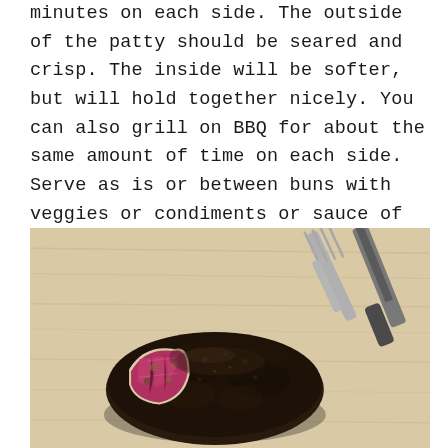minutes on each side. The outside of the patty should be seared and crisp. The inside will be softer, but will hold together nicely. You can also grill on BBQ for about the same amount of time on each side. Serve as is or between buns with veggies or condiments or sauce of choice.
[Figure (photo): A dark-seared veggie burger patty with a bite taken out of it, revealing a reddish-purple interior (likely beet-based), resting on a light wooden cutting board with a fork and knife visible in the background.]